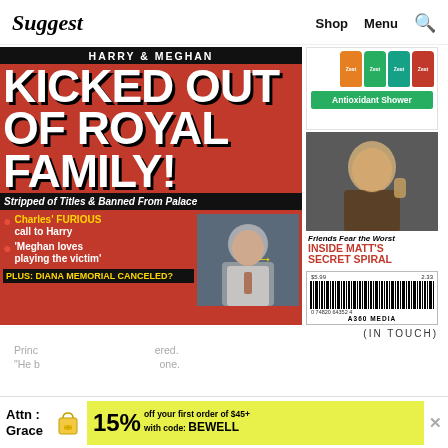Suggest  Shop  Menu  🔍
[Figure (photo): Magazine cover of 'In Touch' tabloid. Red background with large white bold text 'HARRY & MEGHAN KICKED OUT OF ROYAL FAMILY! Stripped of Titles & Banned From Palace'. Bullet points: Charles' FURIOUS call to Harry; 'Meghan loves playing the victim'. Plus: DIANA MEMORIAL CANCELED? Photo of King Charles pointing. Right sidebar shows Zest shampoo ad, photo of Matt Perry with caption 'Friends Fear the Worst INSIDE MATT'S SECRET SPIRAL', and barcode with A360 MEDIA.]
(IN TOUCH)
Princ... ered. "He b... one.
Attn: Grace  15% off your first order of $45+ with code: BEWELL  ✕